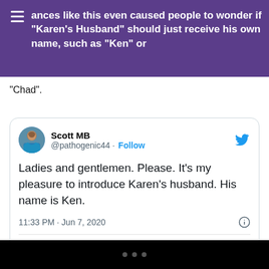...ances like this even caused people to wonder if "Karen's Husband" should just receive his own name, such as "Ken" or
"Chad".
[Figure (screenshot): Embedded tweet from @pathogenic44 (Scott MB) dated 11:33 PM · Jun 7, 2020 reading: 'Ladies and gentlemen. Please. It's my pleasure to introduce Karen's husband. His name is Ken.' with 24 likes, Reply, Copy link, and Read 6 replies button.]